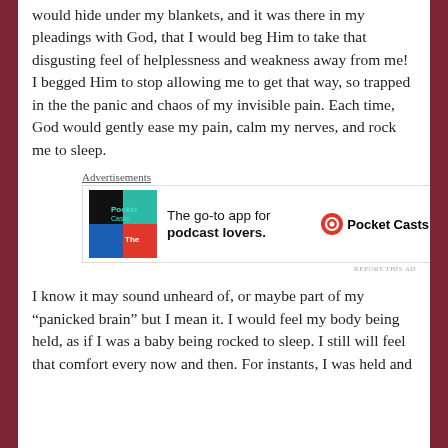would hide under my blankets, and it was there in my pleadings with God, that I would beg Him to take that disgusting feel of helplessness and weakness away from me! I begged Him to stop allowing me to get that way, so trapped in the the panic and chaos of my invisible pain. Each time, God would gently ease my pain, calm my nerves, and rock me to sleep.
[Figure (other): Advertisement banner for Pocket Casts podcast app showing app icon and tagline 'The go-to app for podcast lovers.']
I know it may sound unheard of, or maybe part of my “panicked brain” but I mean it. I would feel my body being held, as if I was a baby being rocked to sleep. I still will feel that comfort every now and then. For instants, I was held and